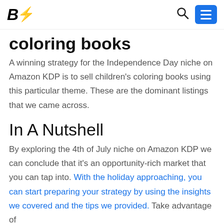B⚡ [logo] [search icon] [menu button]
coloring books
A winning strategy for the Independence Day niche on Amazon KDP is to sell children's coloring books using this particular theme. These are the dominant listings that we came across.
In A Nutshell
By exploring the 4th of July niche on Amazon KDP we can conclude that it's an opportunity-rich market that you can tap into. With the holiday approaching, you can start preparing your strategy by using the insights we covered and the tips we provided. Take advantage of